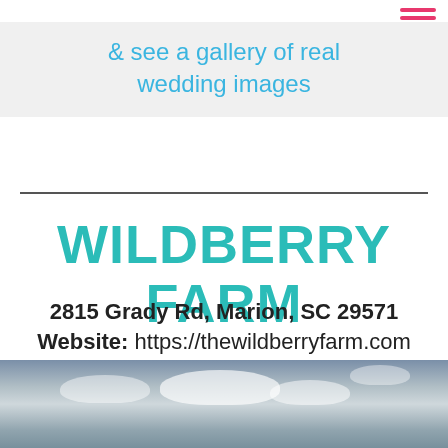& see a gallery of real wedding images
WILDBERRY FARM
2815 Grady Rd, Marion, SC 29571
Website: https://thewildberryfarm.com
[Figure (photo): Sky with clouds, partial view at bottom of page]